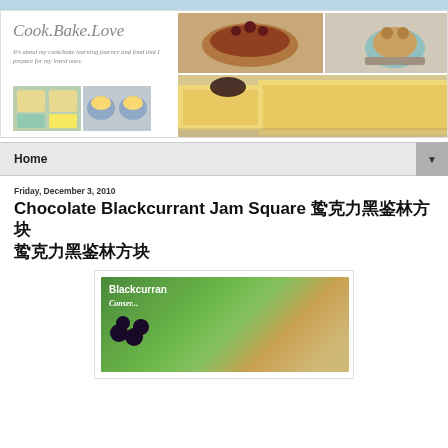[Figure (photo): Cook.Bake.Love blog header banner with site title, tagline, and food photos including desserts, toast with jam, and muffins]
Home
Friday, December 3, 2010
Chocolate Blackcurrant Jam Square 巧克力黑醋栗方块
[Figure (photo): Photo of a green jar of Blackcurrant Conserve]